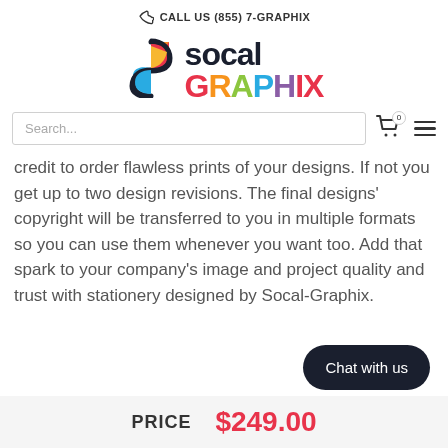CALL US (855) 7-GRAPHIX
[Figure (logo): SoCal Graphix logo with colorful S-shaped icon and stylized text 'socal GRAPHIX']
Search...
credit to order flawless prints of your designs. If not you get up to two design revisions. The final designs' copyright will be transferred to you in multiple formats so you can use them whenever you want too. Add that spark to your company's image and project quality and trust with stationery designed by Socal-Graphix.
Chat with us
PRICE $249.00